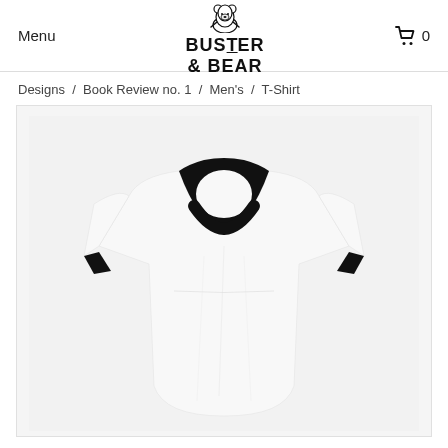Menu  BUSTER & BEAR  🛒 0
Designs  /  Book Review no. 1  /  Men's  /  T-Shirt
[Figure (photo): White ringer t-shirt with black collar and sleeve cuffs, displayed flat on a light gray background. The shirt is plain white with no graphic design visible.]